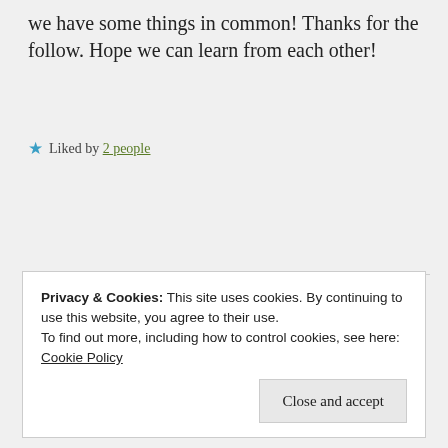we have some things in common! Thanks for the follow. Hope we can learn from each other!
★ Liked by 2 people
Reply
Dylan B Nelson ▲
April 10, 2017 at 7:22 pm
Privacy & Cookies: This site uses cookies. By continuing to use this website, you agree to their use.
To find out more, including how to control cookies, see here:
Cookie Policy
Close and accept